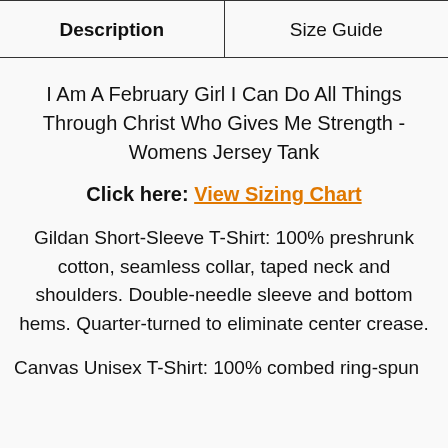| Description | Size Guide |
| --- | --- |
I Am A February Girl I Can Do All Things Through Christ Who Gives Me Strength - Womens Jersey Tank
Click here: View Sizing Chart
Gildan Short-Sleeve T-Shirt: 100% preshrunk cotton, seamless collar, taped neck and shoulders. Double-needle sleeve and bottom hems. Quarter-turned to eliminate center crease.
Canvas Unisex T-Shirt: 100% combed ring-spun